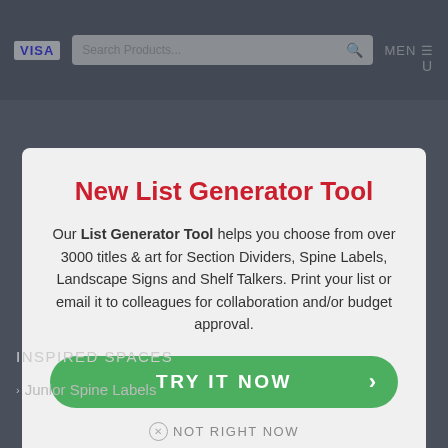[Figure (screenshot): Website screenshot showing a modal dialog overlay on a dark blue-grey website background with a VISA logo, search bar, and navigation menu.]
New List Generator Tool
Our List Generator Tool helps you choose from over 3000 titles & art for Section Dividers, Spine Labels, Landscape Signs and Shelf Talkers. Print your list or email it to colleagues for collaboration and/or budget approval.
TRY IT NOW
NOT RIGHT NOW
INSPIRED SPACES
Junior Spine Labels